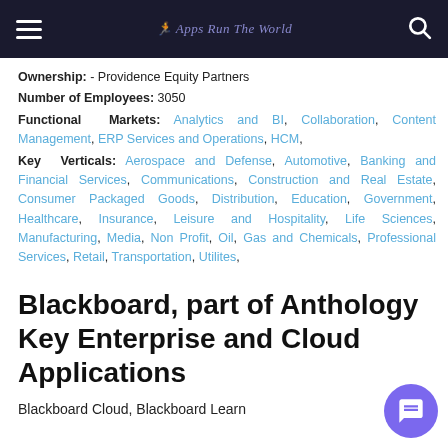Apps Run The World
Ownership: - Providence Equity Partners
Number of Employees: 3050
Functional Markets: Analytics and BI, Collaboration, Content Management, ERP Services and Operations, HCM,
Key Verticals: Aerospace and Defense, Automotive, Banking and Financial Services, Communications, Construction and Real Estate, Consumer Packaged Goods, Distribution, Education, Government, Healthcare, Insurance, Leisure and Hospitality, Life Sciences, Manufacturing, Media, Non Profit, Oil, Gas and Chemicals, Professional Services, Retail, Transportation, Utilites,
Blackboard, part of Anthology Key Enterprise and Cloud Applications
Blackboard Cloud, Blackboard Learn